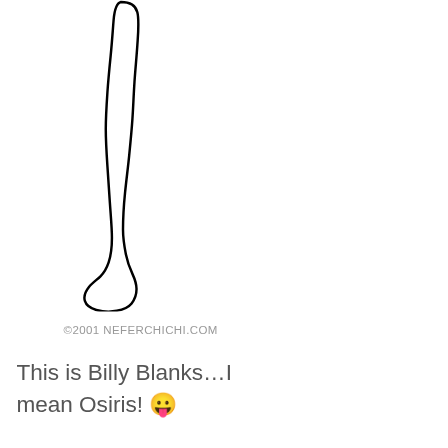[Figure (illustration): Line drawing of a human leg and foot (lower limb outline), with copyright text below reading ©2001 NEFERCHICHI.COM]
©2001 NEFERCHICHI.COM
This is Billy Blanks…I mean Osiris! 😛
[Figure (screenshot): Advertisement banner showing text 'immersive stories.' in white bold italic font over a teal/green gradient background, with a photo of a person in yellow jacket on the right side]
Privacy & Cookies: This site uses cookies. By continuing to use this website, you agree to their use.
To find out more, including how to control cookies, see here: Cookie Policy
Close and accept